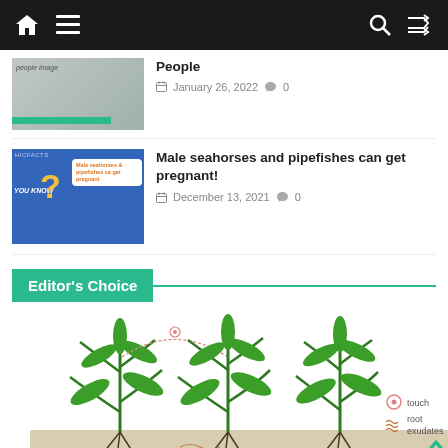Navigation bar with home, menu, search, and shuffle icons
[Figure (screenshot): Thumbnail image partially visible showing a green progress bar at bottom]
People
January 26, 2022  0
[Figure (illustration): Thumbnail image of seahorse infographic with question mark and speech bubble saying 'Male seahorses & pipefishes can get pregnant']
Male seahorses and pipefishes can get pregnant!
December 13, 2021  0
Editor's Choice
[Figure (illustration): Scientific illustration of corn plants showing touch and root exudates communication, with legend showing touch (circle icon) and root exudates (wave icon)]